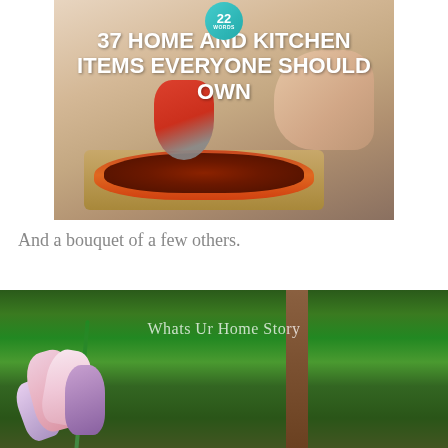[Figure (photo): Photo of a person using a red and grey pizza cutter/rocker blade on a pizza sitting on a wooden cutting board. The image has '22 Words' badge at top and title text overlay reading '37 HOME AND KITCHEN ITEMS EVERYONE SHOULD OWN'.]
And a bouquet of a few others.
[Figure (photo): Photo of pink, white and purple gladiolus flowers in a garden with green plants and a brown tree trunk. Watermark text reads 'Whats Ur Home Story'.]